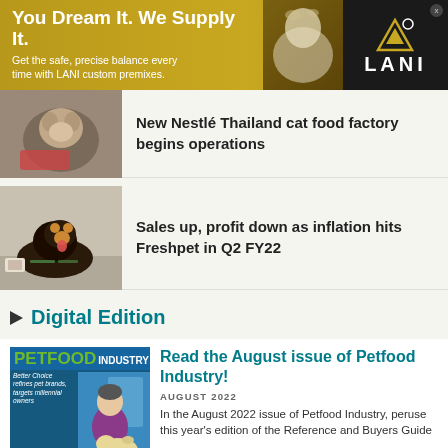[Figure (photo): Banner advertisement: You Dream It. We Supply It. LANI custom premixes, with white dog photo and LANI logo on dark background]
New Nestlé Thailand cat food factory begins operations
Sales up, profit down as inflation hits Freshpet in Q2 FY22
Digital Edition
[Figure (photo): Petfood Industry magazine cover - August 2022 issue showing a man in purple shirt with a yellow labrador dog on a blue couch, headline: Better Choice refines pet brands, targets millennial owners]
Read the August issue of Petfood Industry!
AUGUST 2022
In the August 2022 issue of Petfood Industry, peruse this year's edition of the Reference and Buyers Guide